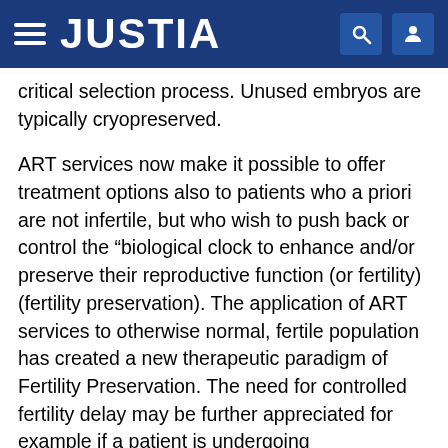JUSTIA
critical selection process. Unused embryos are typically cryopreserved.
ART services now make it possible to offer treatment options also to patients who a priori are not infertile, but who wish to push back or control the “biological clock to enhance and/or preserve their reproductive function (or fertility) (fertility preservation). The application of ART services to otherwise normal, fertile population has created a new therapeutic paradigm of Fertility Preservation. The need for controlled fertility delay may be further appreciated for example if a patient is undergoing chemotherapy wherein reproductive function may be perturbed.
Today there are no practical biological criteria or analytical methods enabling selection of oocyte, sperm,